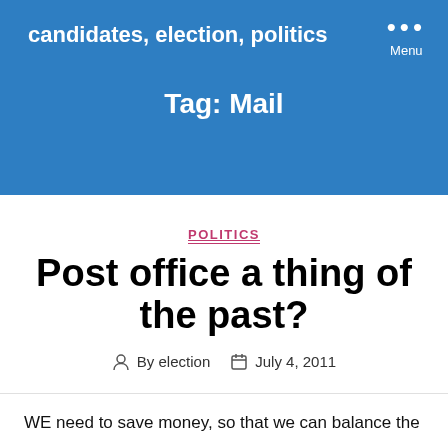candidates, election, politics
Tag: Mail
POLITICS
Post office a thing of the past?
By election   July 4, 2011
WE need to save money, so that we can balance the